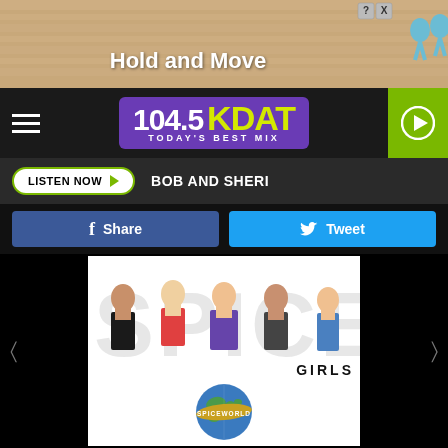[Figure (screenshot): Advertisement banner showing 'Hold and Move' with animated figures, close/help buttons in top right]
[Figure (logo): 104.5 KDAT Today's Best Mix radio station logo in purple with yellow text, hamburger menu left, green play button right]
LISTEN NOW   BOB AND SHERI
Share   Tweet
[Figure (photo): Spice Girls Spiceworld album cover showing the five Spice Girls as letters spelling SPICE with GIRLS below and a globe with SPICEWORLD text at the bottom]